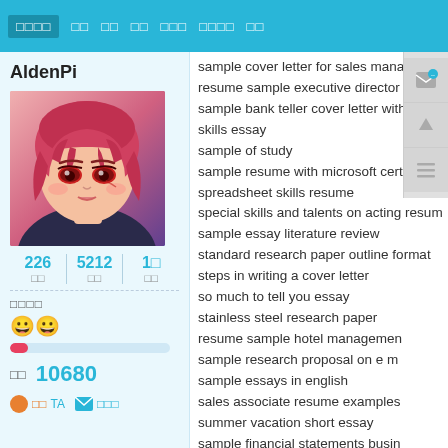□□□□  □□  □□  □□  □□□  □□□□  □□
AldenPi
[Figure (illustration): Anime-style avatar image of a girl with pink/red hair and red eyes]
226 □□   5212 □□   1□ □□
□□□□
😀😀
□□  10680
□□TA   □□□
sample cover letter for sales manager re
resume sample executive director non pr
sample bank teller cover letter with no ex
skills essay
sample of study
sample resume with microsoft certificatio
spreadsheet skills resume
special skills and talents on acting resum
sample essay literature review
standard research paper outline format
steps in writing a cover letter
so much to tell you essay
stainless steel research paper
resume sample hotel managemen
sample research proposal on e m
sample essays in english
sales associate resume examples
summer vacation short essay
sample financial statements busin
thesis planning
should you confess lying on resume
short essay girl child
safety rupert brooke essay
sample annotated bibliography chicago s
share presentations
resume cover sheet